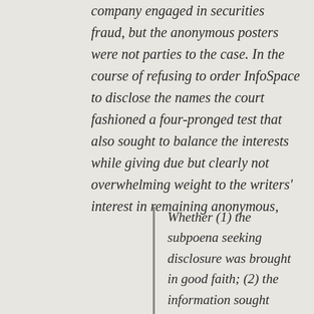company engaged in securities fraud, but the anonymous posters were not parties to the case. In the course of refusing to order InfoSpace to disclose the names the court fashioned a four-pronged test that also sought to balance the interests while giving due but clearly not overwhelming weight to the writers' interest in remaining anonymous,
Whether (1) the subpoena seeking disclosure was brought in good faith; (2) the information sought relates to a core claim or defense; (3) the identifying information is directly and materially relevant to a core claim or defense; and (4) the information sufficient to establish